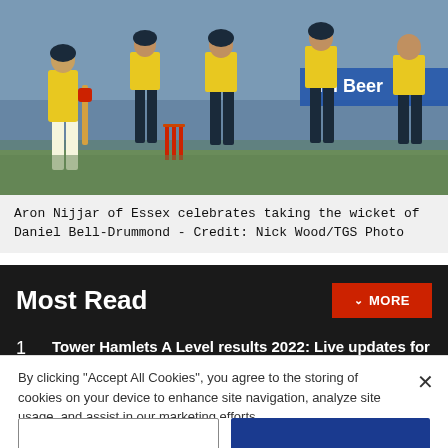[Figure (photo): Cricket players in yellow and navy uniforms on a cricket pitch, celebrating a wicket. Red stumps visible. Scoreboard/advertisement in background reading 'lal Beer'.]
Aron Nijjar of Essex celebrates taking the wicket of Daniel Bell-Drummond - Credit: Nick Wood/TGS Photo
Most Read
1 Tower Hamlets A Level results 2022: Live updates for borough's schools
2 Man, woman and child escape 'large' e-bike fire in
By clicking "Accept All Cookies", you agree to the storing of cookies on your device to enhance site navigation, analyze site usage, and assist in our marketing efforts.